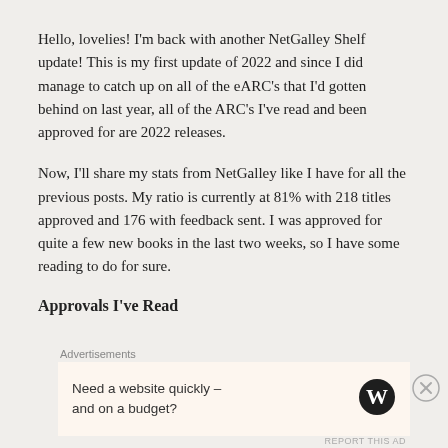Hello, lovelies! I'm back with another NetGalley Shelf update! This is my first update of 2022 and since I did manage to catch up on all of the eARC's that I'd gotten behind on last year, all of the ARC's I've read and been approved for are 2022 releases.
Now, I'll share my stats from NetGalley like I have for all the previous posts. My ratio is currently at 81% with 218 titles approved and 176 with feedback sent. I was approved for quite a few new books in the last two weeks, so I have some reading to do for sure.
Approvals I've Read
Advertisements
Need a website quickly – and on a budget?